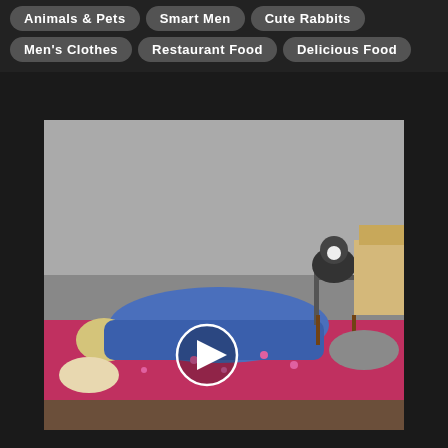Animals & Pets
Smart Men
Cute Rabbits
Men's Clothes
Restaurant Food
Delicious Food
[Figure (photo): A person lying on a pink bed with a dog standing on a small stool/table beside them. A play button overlay is shown on the video thumbnail. Room has gray walls and cardboard boxes visible.]